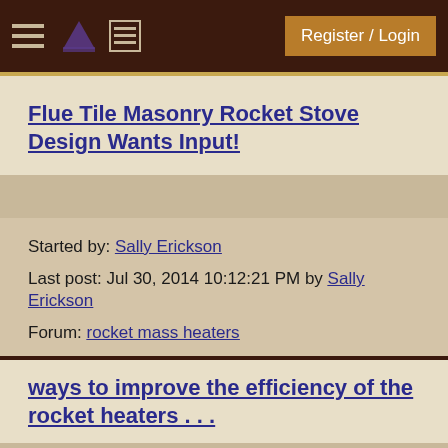Register / Login
Flue Tile Masonry Rocket Stove Design Wants Input!
Started by: Sally Erickson
Last post: Jul 30, 2014 10:12:21 PM by Sally Erickson
Forum: rocket mass heaters
ways to improve the efficiency of the rocket heaters . . .
Started by: Mike Prettyman
Last post: Jul 30, 2014 10:08:25 PM by ronald bush
Forum: rocket mass heaters